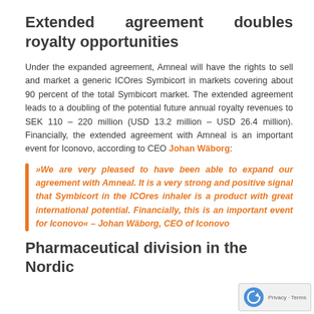Extended agreement doubles royalty opportunities
Under the expanded agreement, Amneal will have the rights to sell and market a generic ICOres Symbicort in markets covering about 90 percent of the total Symbicort market. The extended agreement leads to a doubling of the potential future annual royalty revenues to SEK 110 – 220 million (USD 13.2 million – USD 26.4 million). Financially, the extended agreement with Amneal is an important event for Iconovo, according to CEO Johan Wäborg:
»We are very pleased to have been able to expand our agreement with Amneal. It is a very strong and positive signal that Symbicort in the ICOres inhaler is a product with great international potential. Financially, this is an important event for Iconovo« – Johan Wäborg, CEO of Iconovo
Pharmaceutical division in the Nordic